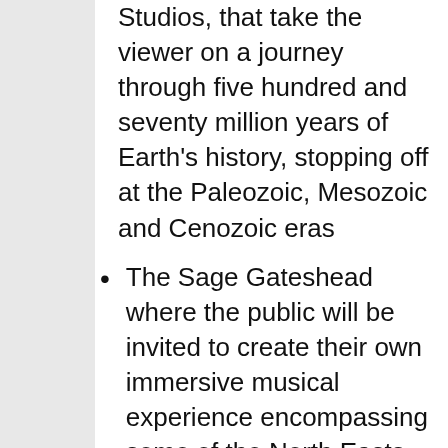Studios, that take the viewer on a journey through five hundred and seventy million years of Earth's history, stopping off at the Paleozoic, Mesozoic and Cenozoic eras
The Sage Gateshead where the public will be invited to create their own immersive musical experience encompassing some of the North Easts best known landmarks.
Speaking about the use of the technology across The Great Exhibition of the North's key venues, Dominic Lusardi, Managing Director at Animmersion said: “This is without doubt the most high-profile and visually stimulating event that the region has seen for some time and we are absolutely delighted to have been asked to be an integral part of this through the use of